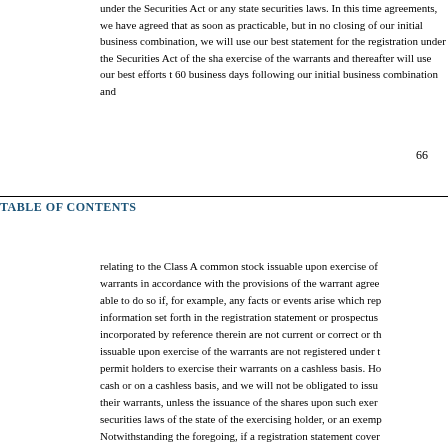under the Securities Act or any state securities laws. In this time agreements, we have agreed that as soon as practicable, but in no event later than closing of our initial business combination, we will use our best efforts to file a registration statement for the registration under the Securities Act of the shares issuable upon exercise of the warrants and thereafter will use our best efforts to cause the same to be effective 60 business days following our initial business combination and
66
TABLE OF CONTENTS
relating to the Class A common stock issuable upon exercise of the warrants in accordance with the provisions of the warrant agree able to do so if, for example, any facts or events arise which rep information set forth in the registration statement or prospectus incorporated by reference therein are not current or correct or th issuable upon exercise of the warrants are not registered under t permit holders to exercise their warrants on a cashless basis. Ho cash or on a cashless basis, and we will not be obligated to issu their warrants, unless the issuance of the shares upon such exer securities laws of the state of the exercising holder, or an exemp Notwithstanding the foregoing, if a registration statement cover exercise of the warrants is not effective within a specified perio business combination, warrant-holders may, until such time as t and during any period when we shall have failed to maintain a